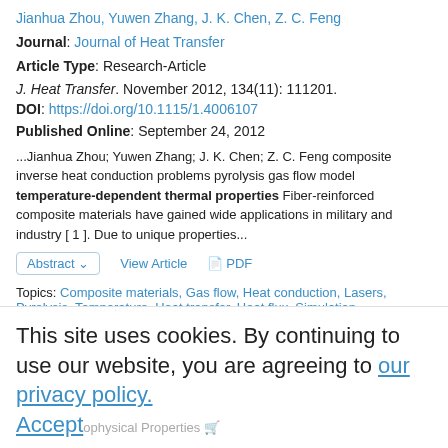Jianhua Zhou, Yuwen Zhang, J. K. Chen, Z. C. Feng
Journal: Journal of Heat Transfer
Article Type: Research-Article
J. Heat Transfer. November 2012, 134(11): 111201.
DOI: https://doi.org/10.1115/1.4006107
Published Online: September 24, 2012
...Jianhua Zhou; Yuwen Zhang; J. K. Chen; Z. C. Feng composite inverse heat conduction problems pyrolysis gas flow model temperature-dependent thermal properties Fiber-reinforced composite materials have gained wide applications in military and industry [ 1 ]. Due to unique properties...
Topics: Composite materials, Gas flow, Heat conduction, Lasers, Pyrolysis, Temperature, Heat transfer, Heat flux, Simulation
JOURNAL ARTICLES
This site uses cookies. By continuing to use our website, you are agreeing to our privacy policy. Accept